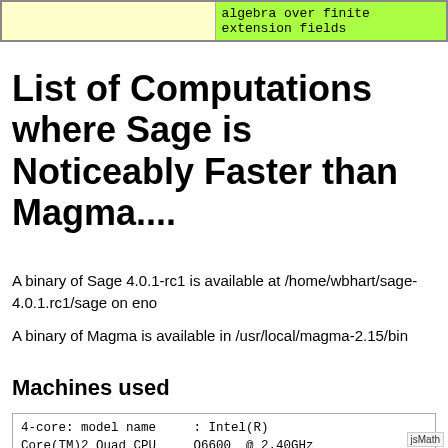[Figure (table-as-image): Top partial table with two columns: left cell has yellow background (empty visible content), right cell has green background with text 'algebra over finite extension fields' in monospace]
List of Computations where Sage is Noticeably Faster than Magma....
A binary of Sage 4.0.1-rc1 is available at /home/wbhart/sage-4.0.1.rc1/sage on eno
A binary of Magma is available in /usr/local/magma-2.15/bin
Machines used
eno: (a script to stop background processes for benchmarking purposes is available at /home/wbhart/script - but please stop it when done)
4-core: model name      : Intel(R)
Core(TM)2 Quad CPU      Q6600  @ 2.40GHz